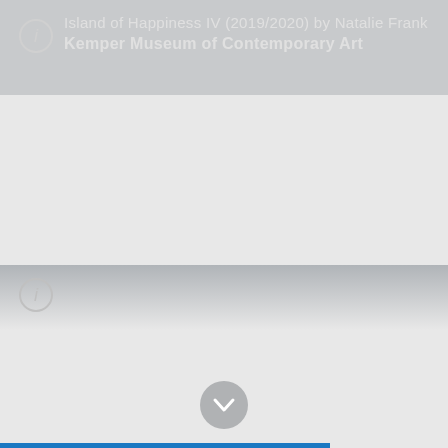Island of Happiness IV (2019/2020) by Natalie Frank
Kemper Museum of Contemporary Art
[Figure (screenshot): A mobile app or web interface screenshot showing two panels. The top panel has a gray header bar with an info icon and text reading 'Island of Happiness IV (2019/2020) by Natalie Frank' and 'Kemper Museum of Contemporary Art'. Below the header is a large light gray empty content area. The bottom panel shows another gray gradient header area with an info icon, followed by a lighter gray empty area. At the bottom center is a circular gray chevron/down-arrow button. At the very bottom is a partial blue progress/navigation bar.]